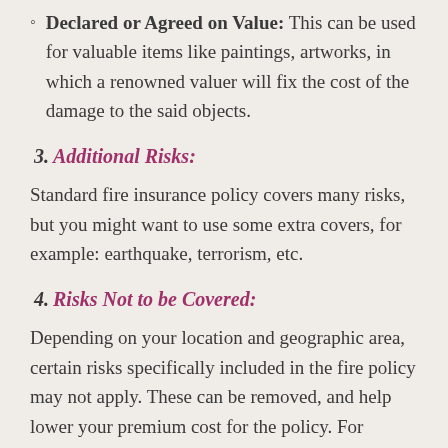Declared or Agreed on Value: This can be used for valuable items like paintings, artworks, in which a renowned valuer will fix the cost of the damage to the said objects.
3. Additional Risks:
Standard fire insurance policy covers many risks, but you might want to use some extra covers, for example: earthquake, terrorism, etc.
4. Risks Not to be Covered:
Depending on your location and geographic area, certain risks specifically included in the fire policy may not apply. These can be removed, and help lower your premium cost for the policy. For example: Most of the Businesses located in mountainous region are free from the risk of flooding.